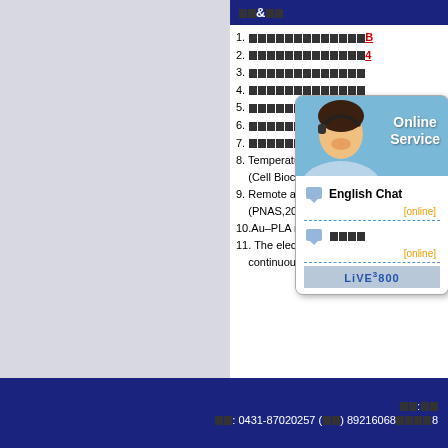□□&□□
1. □□□□□□□□□□□□□
2. □□□□□□□□□□□□□4
3. □□□□□□□□□□□□□
4. □□□□□□□□□□□□□
5. □□□□□□□□□□□□□
6. □□□□□□LIBS□□
7. □□□□□□□□□□□□□
8. Temperature... (Cell Biochemistry and Biophysics,
9. Remote activation of biomolecule... (PNAS,2012,109(22),8483-8488)
10.Au–PLA nanocomposites for pho...
11. The electrophysiological propert... continuous near-infrared laser (Ch...
[Figure (other): Online service chat widget with photo of woman wearing headset, English Chat and Chinese chat options with [online] status badges]
□□:□□   □□: 0431-87020257 (□□) 89216068□□□□8